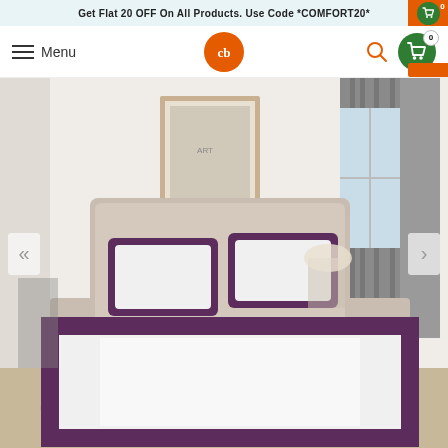Get Flat 20 OFF On All Products. Use Code *COMFORT20*
Menu
[Figure (photo): E-commerce website header with promo banner, navigation bar with hamburger menu, centered orange logo with 'CB' monogram, search icon, and green cart icon. Below is a product photo of a bedroom scene showing a neatly made bed with white and purple/plum bordered bedsheet set with two matching pillow covers, beige upholstered headboard, white walls, grey curtains, a framed artwork, bedside lamp, and decorative items.]